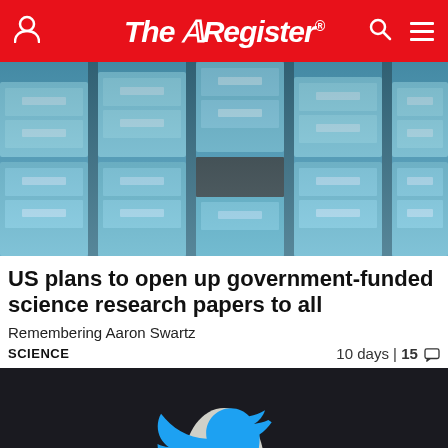The Register
[Figure (photo): Photo of rows of blue filing cabinet drawers stacked in a large archive]
US plans to open up government-funded science research papers to all
Remembering Aaron Swartz
SCIENCE   10 days | 15 comments
[Figure (photo): Close-up photo of a person holding a Twitter bird logo]